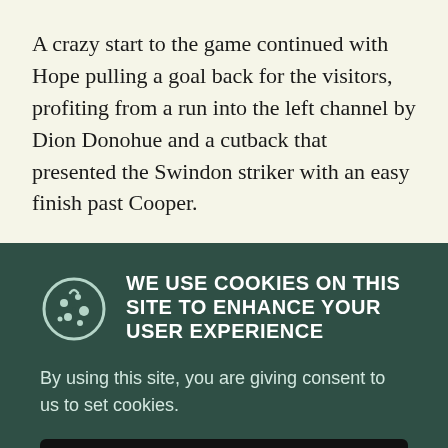A crazy start to the game continued with Hope pulling a goal back for the visitors, profiting from a run into the left channel by Dion Donohue and a cutback that presented the Swindon striker with an easy finish past Cooper.
WE USE COOKIES ON THIS SITE TO ENHANCE YOUR USER EXPERIENCE
By using this site, you are giving consent to us to set cookies.
ACCEPT ALL COOKIES
MORE INFO